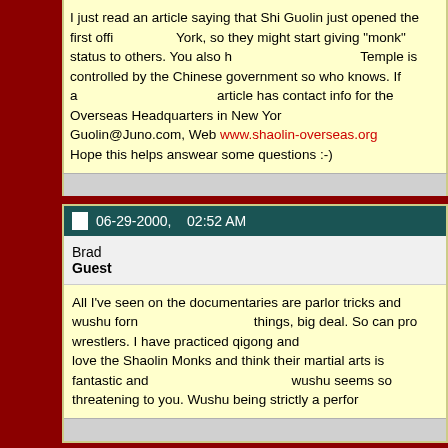I just read an article saying that Shi Guolin just opened the first office in New York, so they might start giving "monk" status to others. You also have to remember the Temple is controlled by the Chinese government so who knows. If anyone is intersted the article has contact info for the Overseas Headquarters in New York: Email - Guolin@Juno.com, Web www.shaolin-overseas.org
Hope this helps answear some questions :-)
06-29-2000,   02:52 AM
Brad
Guest
All I've seen on the documentaries are parlor tricks and wushu forms. So can do those things, big deal. So can pro wrestlers. I have practiced qigong and I can tell you that I love the Shaolin Monks and think their martial arts is fantastic and I don't understand why wushu seems so threatening to you. Wushu being strictly a perform
06-29-2000,   03:08 AM
Guest
Its not threatening. :P